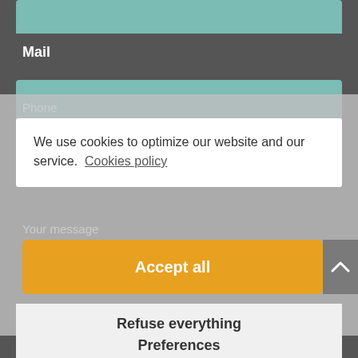[Figure (screenshot): Teal input field bar at the top of the page]
Mail
[Figure (screenshot): Second teal input field bar]
Phone
We use cookies to optimize our website and our service.  Cookies policy
Your message
Accept all
Refuse everything
Preferences